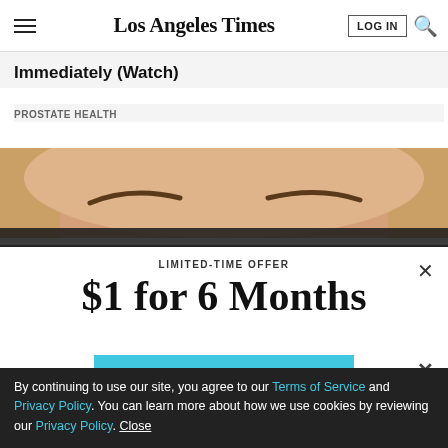Los Angeles Times
Immediately (Watch)
PROSTATE HEALTH
[Figure (photo): Close-up photo of a woman's face showing eyebrows and forehead, cropped]
LIMITED-TIME OFFER
$1 for 6 Months
SUBSCRIBE NOW
By continuing to use our site, you agree to our Terms of Service and Privacy Policy. You can learn more about how we use cookies by reviewing our Privacy Policy. Close